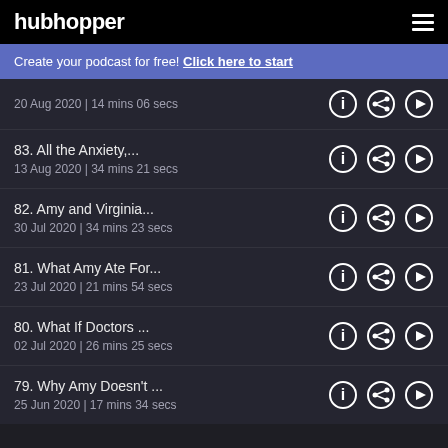hubhopper
Create your podcast for free! Click here to start
20 Aug 2020 | 14 mins 06 secs
83. All the Anxiety,...
13 Aug 2020 | 34 mins 21 secs
82. Amy and Virginia...
30 Jul 2020 | 34 mins 23 secs
81. What Amy Ate For...
23 Jul 2020 | 21 mins 54 secs
80. What If Doctors ...
02 Jul 2020 | 26 mins 25 secs
79. Why Amy Doesn't ...
25 Jun 2020 | 17 mins 34 secs